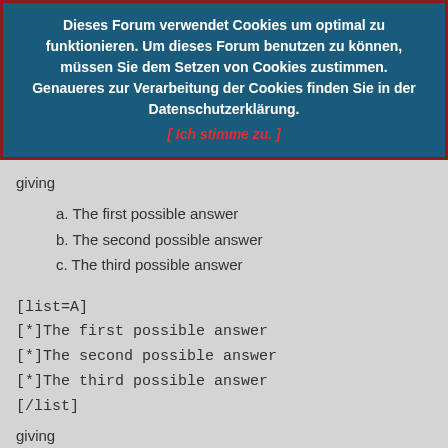Dieses Forum verwendet Cookies um optimal zu funktionieren. Um dieses Forum benutzen zu können, müssen Sie dem Setzen von Cookies zustimmen. Genaueres zur Verarbeitung der Cookies finden Sie in der Datenschutzerklärung. [ Ich stimme zu. ]
giving
a. The first possible answer
b. The second possible answer
c. The third possible answer
[list=A]
[*]The first possible answer
[*]The second possible answer
[*]The third possible answer
[/list]
giving
A. The first possible answer
B. The second possible answer
C. The third possible answer
[list=i]
[*]The first possible answer